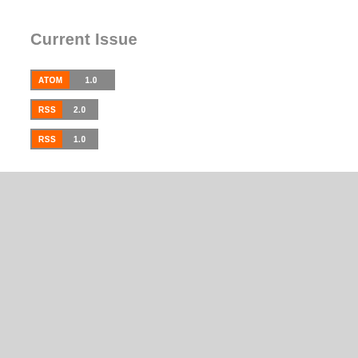Current Issue
[Figure (other): ATOM 1.0 feed badge - orange left panel with ATOM label and gray right panel with 1.0]
[Figure (other): RSS 2.0 feed badge - orange left panel with RSS label and gray right panel with 2.0]
[Figure (other): RSS 1.0 feed badge - orange left panel with RSS label and gray right panel with 1.0]
Opinions expressed in articles do not necessarily reflect the views of the Editorial Board.
Any plagiarism will be dealt with according to COPE code of ethics.
Platform & workflow by